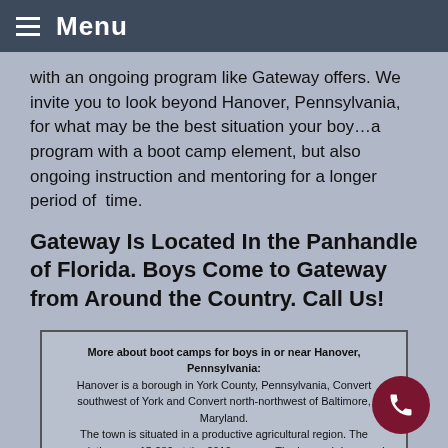Menu
with an ongoing program like Gateway offers. We invite you to look beyond Hanover, Pennsylvania, for what may be the best situation your boy…a program with a boot camp element, but also ongoing instruction and mentoring for a longer period of time.
Gateway Is Located In the Panhandle of Florida. Boys Come to Gateway from Around the Country. Call Us!
More about boot camps for boys in or near Hanover, Pennsylvania:
Hanover is a borough in York County, Pennsylvania, Convert southwest of York and Convert north-northwest of Baltimore, Maryland.
The town is situated in a productive agricultural region. The population was 15,289 at the 2010 census. The borough is served by a 717 area code and the Zip Codes of 17331-34. Hanover is named after the German city of Hannover.

Excerpt about boot camps for boys in Hanover, Pennsylvania, used with permission from Wikipedia.